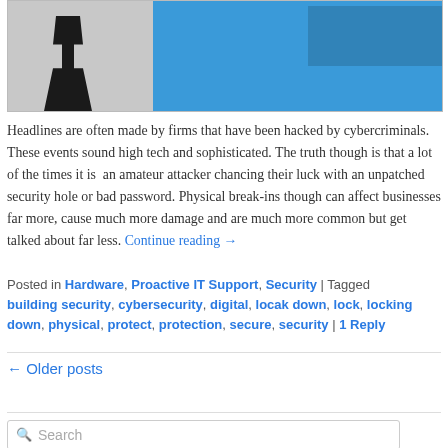[Figure (illustration): Blog post header image showing a dark silhouette of a person standing against a grey background on the left, and a blue wall/door on the right.]
Headlines are often made by firms that have been hacked by cybercriminals. These events sound high tech and sophisticated. The truth though is that a lot of the times it is  an amateur attacker chancing their luck with an unpatched security hole or bad password. Physical break-ins though can affect businesses far more, cause much more damage and are much more common but get talked about far less. Continue reading →
Posted in Hardware, Proactive IT Support, Security | Tagged building security, cybersecurity, digital, locak down, lock, locking down, physical, protect, protection, secure, security | 1 Reply
← Older posts
Search